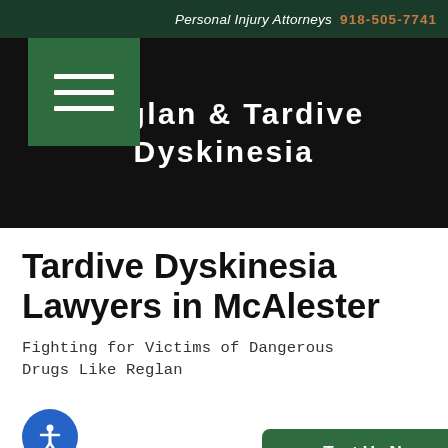Personal Injury Attorneys 918-505-7741
Reglan & Tardive Dyskinesia
Tardive Dyskinesia Lawyers in McAlester
Fighting for Victims of Dangerous Drugs Like Reglan
If you've ever stuffed yourself to wher...